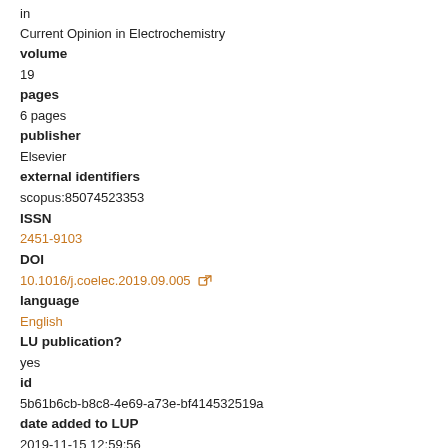in
Current Opinion in Electrochemistry
volume
19
pages
6 pages
publisher
Elsevier
external identifiers
scopus:85074523353
ISSN
2451-9103
DOI
10.1016/j.coelec.2019.09.005
language
English
LU publication?
yes
id
5b61b6cb-b8c8-4e69-a73e-bf414532519a
date added to LUP
2019-11-15 12:59:56
date last changed
2022-04-18 18:45:56